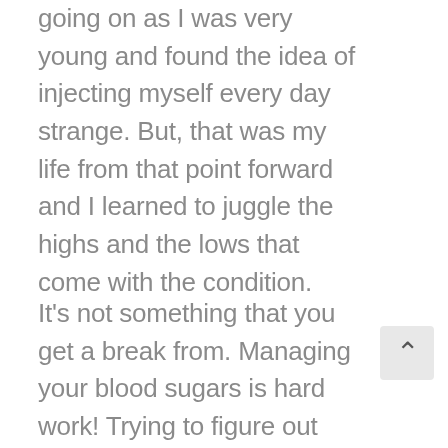going on as I was very young and found the idea of injecting myself every day strange. But, that was my life from that point forward and I learned to juggle the highs and the lows that come with the condition.
It's not something that you get a break from. Managing your blood sugars is hard work! Trying to figure out food labels and menus is enough to make anyone go a bit mad. Unless you have diabetes or know someone with it, people don't really understand how it affects your life. There are so many